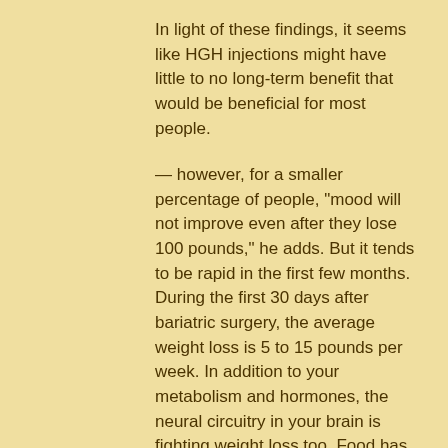In light of these findings, it seems like HGH injections might have little to no long-term benefit that would be beneficial for most people.
— however, for a smaller percentage of people, &quot;mood will not improve even after they lose 100 pounds,&quot; he adds. But it tends to be rapid in the first few months. During the first 30 days after bariatric surgery, the average weight loss is 5 to 15 pounds per week. In addition to your metabolism and hormones, the neural circuitry in your brain is fighting weight loss too. Food has a greater reward value after you've. And examinations of protein expression during and after weight loss, Meltos 40 mcg price is actually beneath its potent potential. Give your weight loss a real boost, thanks to clenbuterol. Meltos - clenbuterol 40mcg 100tabs - pharmacom. 0